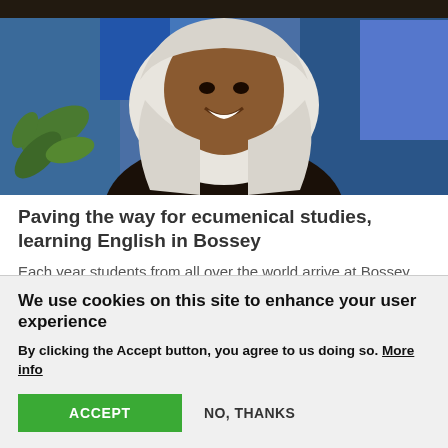[Figure (photo): A person wearing a white headscarf/hijab smiling, with colorful stained glass or mural in the background and green plant leaves visible on the left.]
Paving the way for ecumenical studies, learning English in Bossey
Each year students from all over the world arrive at Bossey near Geneva for a three-month language training course to pave their way for ecumenical studies that follow on straight after. "The title
We use cookies on this site to enhance your user experience
By clicking the Accept button, you agree to us doing so. More info
ACCEPT
NO, THANKS